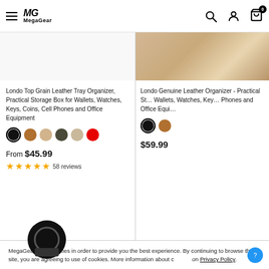MegaGear navigation bar with hamburger menu, logo, search, account, and cart icons
[Figure (screenshot): MegaGear e-commerce product listing page showing two product cards side by side]
Londo Top Grain Leather Tray Organizer, Practical Storage Box for Wallets, Watches, Keys, Coins, Cell Phones and Office Equipment
From $45.99
58 reviews
Londo Genuine Leather Organizer - Practical Storage for Wallets, Watches, Keys, Cell Phones and Office Equipment
$59.99
MegaGear uses cookies in order to provide you the best experience. By continuing to browse the site, you are agreeing to use of cookies. More information about cookies on Privacy Policy.